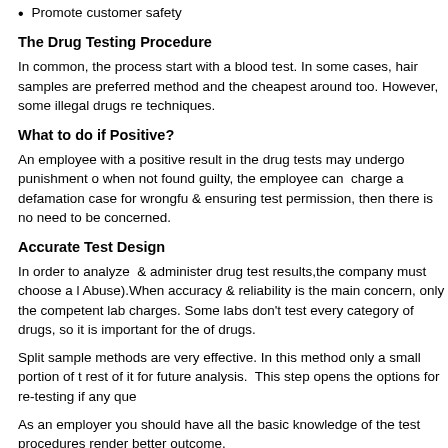Promote customer safety
The Drug Testing Procedure
In common, the process start with a blood test. In some cases, hair samples are preferred method and the cheapest around too. However, some illegal drugs require techniques.
What to do if Positive?
An employee with a positive result in the drug tests may undergo punishment on when not found guilty, the employee can charge a defamation case for wrongfu & ensuring test permission, then there is no need to be concerned.
Accurate Test Design
In order to analyze & administer drug test results,the company must choose a l Abuse).When accuracy & reliability is the main concern, only the competent lab charges. Some labs don't test every category of drugs, so it is important for the of drugs.
Split sample methods are very effective. In this method only a small portion of th rest of it for future analysis. This step opens the options for re-testing if any que
As an employer you should have all the basic knowledge of the test procedures render better outcome.
Being aware of the potential for false positives is equally important as well. It is times.
It is mandatory for the tests to include safeguards against fraud. Only the NIDA employers.